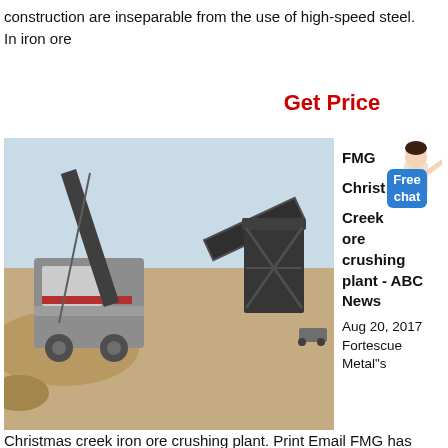construction are inseparable from the use of high-speed steel. In iron ore
Get Price
[Figure (photo): Industrial iron ore crushing plant with heavy machinery, conveyor belts, and dirt mounds in an open-air facility.]
FMG Christ Creek ore crushing plant - ABC News
Aug 20, 2017
Fortescue Metal"s
Christmas creek iron ore crushing plant. Print Email FMG has dropped iron ore production costs to US$12.16/wmt.